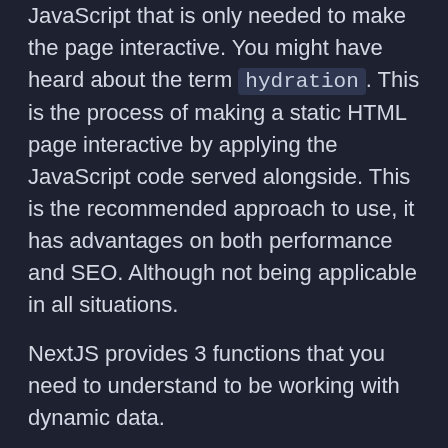JavaScript that is only needed to make the page interactive. You might have heard about the term hydration. This is the process of making a static HTML page interactive by applying the JavaScript code served alongside. This is the recommended approach to use, it has advantages on both performance and SEO. Although not being applicable in all situations.
NextJS provides 3 functions that you need to understand to be working with dynamic data.
getServerSideProps
getStaticProps
getStaticPaths
When working with these features I always